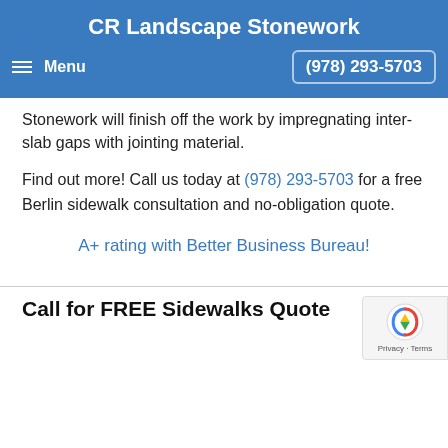CR Landscape Stonework
Menu | (978) 293-5703
Stonework will finish off the work by impregnating inter-slab gaps with jointing material.
Find out more! Call us today at (978) 293-5703 for a free Berlin sidewalk consultation and no-obligation quote.
A+ rating with Better Business Bureau!
Call for FREE Sidewalks Quote